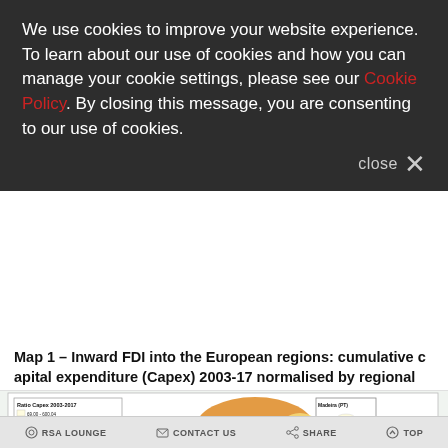We use cookies to improve your website experience. To learn about our use of cookies and how you can manage your cookie settings, please see our Cookie Policy. By closing this message, you are consenting to our use of cookies.
Map 1 – Inward FDI into the European regions: cumulative capital expenditure (Capex) 2003-17 normalised by regional population
[Figure (map): Choropleth map of Europe showing inward FDI capital expenditure (Capex) 2003-17 normalised by regional population. Legend shows 'Ratio Capex 2003-2017' with color scale from light yellow (69.00-600.04) through orange to dark red (6607.04-22708.00). Inset boxes show Madeira (PT), Canarias (ES), and Iceland.]
RSA LOUNGE   CONTACT US   SHARE   TOP